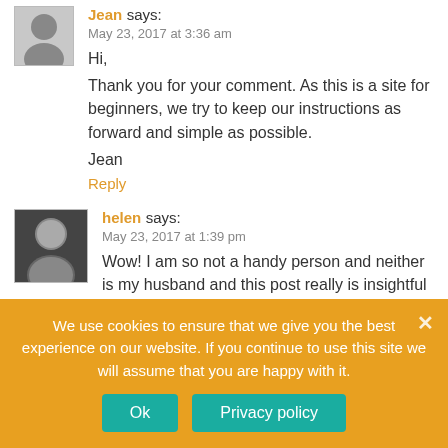Jean says: May 23, 2017 at 3:36 am
Hi,
Thank you for your comment. As this is a site for beginners, we try to keep our instructions as forward and simple as possible.
Jean
Reply
helen says: May 23, 2017 at 1:39 pm
Wow! I am so not a handy person and neither is my husband and this post really is insightful and clear regarding the instructions you provide.
I am going to give it a try and revert once I have (barring cutting the wood I may outsource that.. lol)
We use cookies to ensure that we give you the best experience on our website. If you continue to use this site we will assume that you are happy with it.
Ok
Privacy policy